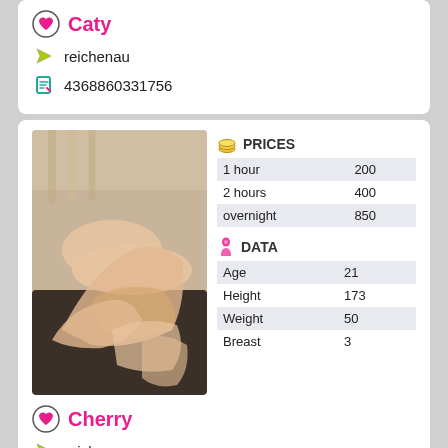Caty
reichenau
4368860331756
[Figure (photo): Photo of a person lying on a dark leather couch]
|  | PRICES |
| --- | --- |
| 1 hour | 200 |
| 2 hours | 400 |
| overnight | 850 |
|  | DATA |
| --- | --- |
| Age | 21 |
| Height | 173 |
| Weight | 50 |
| Breast | 3 |
Cherry
reichenau
4367763429529